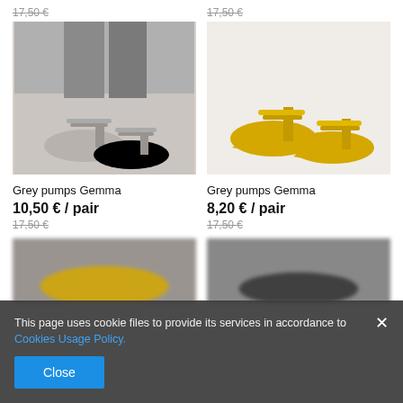17,50 €
17,50 €
[Figure (photo): Grey suede pointed-toe heels with cross ankle straps worn with jeans]
[Figure (photo): Yellow/mustard suede pointed-toe heels with cross ankle straps on white background]
Grey pumps Gemma
Grey pumps Gemma
10,50 € / pair
17,50 €
8,20 € / pair
17,50 €
[Figure (photo): Partial view of shoes at bottom left, blurred]
[Figure (photo): Partial view of shoes at bottom right, blurred]
This page uses cookie files to provide its services in accordance to Cookies Usage Policy.
Close